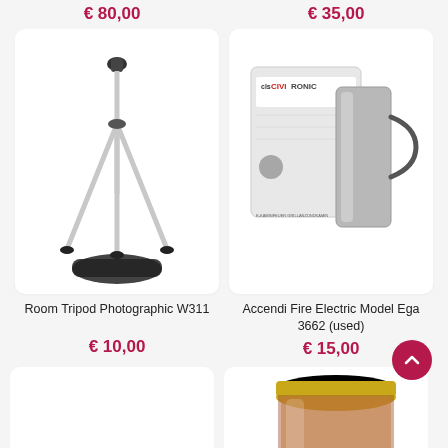€ 80,00
€ 35,00
[Figure (photo): Aluminum camera tripod with black carrying bag at the base, extended legs, white background]
[Figure (photo): Clatronic electric fire starter / chimney lighter model Ega 3662, silver metal cylinder with handle, shown with product box]
Room Tripod Photographic W311
Accendi Fire Electric Model Ega 3662 (used)
€ 10,00
€ 15,00
[Figure (photo): Partially visible product card at bottom left, white background]
[Figure (photo): Glass jar with gold lid containing dried herbs or spices, partially visible at bottom right]